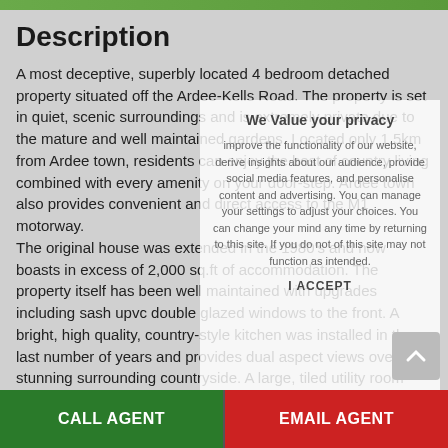Description
A most deceptive, superbly located 4 bedroom detached property situated off the Ardee-Kells Road. The property is set in quiet, scenic surroundings and is extremely private due to the mature and well maintained gardens. Located only 1.5km from Ardee town, residents can enjoy the best of country living combined with every amenity on your door-step. Ardee town also provides convenient and direct access to the M1 motorway. The original house was extended in the 1980's and now boasts in excess of 2,000 sq.ft of accommodation. The property itself has been well maintained with upgrades including sash upvc double glazed windows to the front. A bright, high quality, country-style kitchen was installed in the last number of years and provides dual aspect views over the stunning surrounding countryside. A large, tiled utility room with ample storage is situated adjacent to the kitchen.
We Value your privacy
improve the functionality of our website, derive insights about our audience, provide social media features, and personalise content and advertising. You can manage your settings to adjust your choices. You can change your mind any time by returning to this site. If you do not of this site may not function as intended.
I ACCEPT
CALL AGENT
EMAIL AGENT